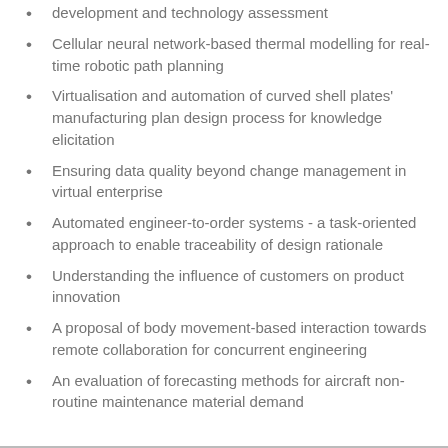development and technology assessment
Cellular neural network-based thermal modelling for real-time robotic path planning
Virtualisation and automation of curved shell plates' manufacturing plan design process for knowledge elicitation
Ensuring data quality beyond change management in virtual enterprise
Automated engineer-to-order systems - a task-oriented approach to enable traceability of design rationale
Understanding the influence of customers on product innovation
A proposal of body movement-based interaction towards remote collaboration for concurrent engineering
An evaluation of forecasting methods for aircraft non-routine maintenance material demand